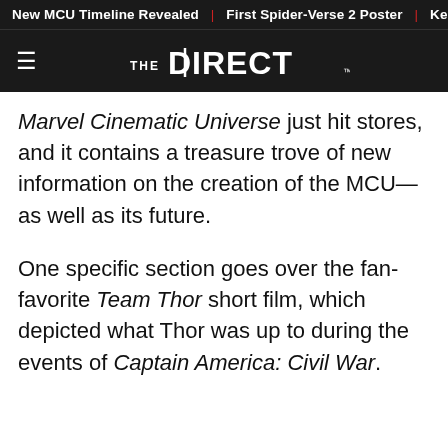New MCU Timeline Revealed | First Spider-Verse 2 Poster | Kenob
[Figure (logo): The Direct logo — hamburger menu icon on the left, 'THE DIRECT' text logo centered in white on dark background]
Marvel Cinematic Universe just hit stores, and it contains a treasure trove of new information on the creation of the MCU—as well as its future.
One specific section goes over the fan-favorite Team Thor short film, which depicted what Thor was up to during the events of Captain America: Civil War.